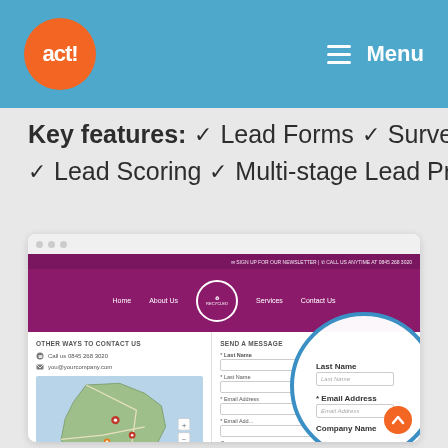act! Menu
Key features: ✓ Lead Forms ✓ Surveys ✓ Lead Scoring ✓ Multi-stage Lead Profiling
[Figure (screenshot): Screenshot of a website contact page with purple header navigation (Home, About Us, Recycled logo, Services, Contact Us), a left panel showing 'OTHER WAYS TO CONTACT US' with phone (Call us 0845 268 3020) and email (you@yourcompany.com) and a map of Wales with pins, and a right panel 'SEND A MESSAGE' form with fields for Last Name, Email Address, Company Name. A blue circle highlights the Last Name and Email Address fields with placeholder text. An orange scroll-to-top button appears in the bottom right.]